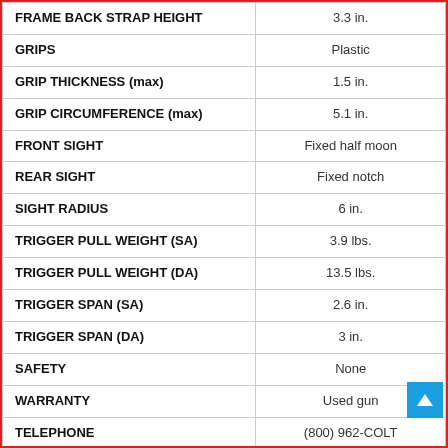| Specification | Value |
| --- | --- |
| FRAME BACK STRAP HEIGHT | 3.3 in. |
| GRIPS | Plastic |
| GRIP THICKNESS (max) | 1.5 in. |
| GRIP CIRCUMFERENCE (max) | 5.1 in. |
| FRONT SIGHT | Fixed half moon |
| REAR SIGHT | Fixed notch |
| SIGHT RADIUS | 6 in. |
| TRIGGER PULL WEIGHT (SA) | 3.9 lbs. |
| TRIGGER PULL WEIGHT (DA) | 13.5 lbs. |
| TRIGGER SPAN (SA) | 2.6 in. |
| TRIGGER SPAN (DA) | 3 in. |
| SAFETY | None |
| WARRANTY | Used gun |
| TELEPHONE | (800) 962-COLT |
| WEBSITE | Colt.com |